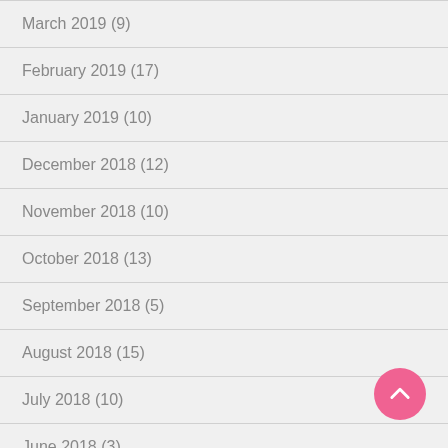March 2019 (9)
February 2019 (17)
January 2019 (10)
December 2018 (12)
November 2018 (10)
October 2018 (13)
September 2018 (5)
August 2018 (15)
July 2018 (10)
June 2018 (3)
May 2018 (7)